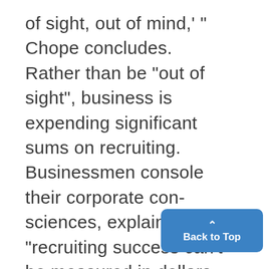of sight, out of mind,' " Chope concludes. Rather than be "out of sight", business is expending significant sums on recruiting. Businessmen console their corporate consciences, explaining "recruiting success can't be measured in dollars and cents." In the face of the stiff competition that has recruiters chasing college graduates from Florida sands to campus greens, traditional business enemies have b